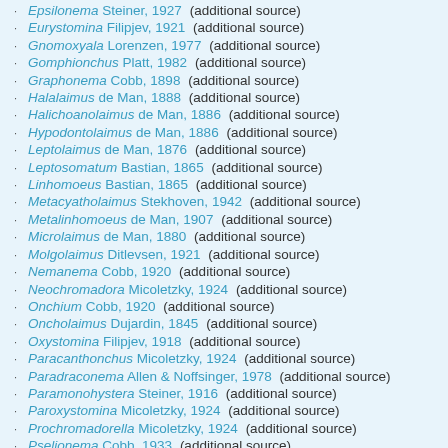Epsilonema Steiner, 1927 (additional source)
Eurystomina Filipjev, 1921 (additional source)
Gnomoxyala Lorenzen, 1977 (additional source)
Gomphionchus Platt, 1982 (additional source)
Graphonema Cobb, 1898 (additional source)
Halalaimus de Man, 1888 (additional source)
Halichoanolaimus de Man, 1886 (additional source)
Hypodontolaimus de Man, 1886 (additional source)
Leptolaimus de Man, 1876 (additional source)
Leptosomatum Bastian, 1865 (additional source)
Linhomoeus Bastian, 1865 (additional source)
Metacyatholaimus Stekhoven, 1942 (additional source)
Metalinhomoeus de Man, 1907 (additional source)
Microlaimus de Man, 1880 (additional source)
Molgolaimus Ditlevsen, 1921 (additional source)
Nemanema Cobb, 1920 (additional source)
Neochromadora Micoletzky, 1924 (additional source)
Onchium Cobb, 1920 (additional source)
Oncholaimus Dujardin, 1845 (additional source)
Oxystomina Filipjev, 1918 (additional source)
Paracanthonchus Micoletzky, 1924 (additional source)
Paradraconema Allen & Noffsinger, 1978 (additional source)
Paramonohystera Steiner, 1916 (additional source)
Paroxystomina Micoletzky, 1924 (additional source)
Prochromadorella Micoletzky, 1924 (additional source)
Pselionema Cobb, 1933 (additional source)
Ptycholaimellus Cobb, 1920 (additional source)